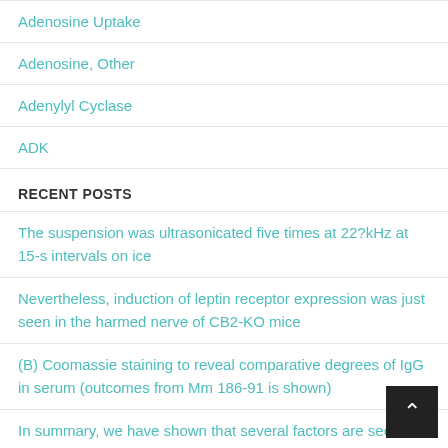Adenosine Uptake
Adenosine, Other
Adenylyl Cyclase
ADK
RECENT POSTS
The suspension was ultrasonicated five times at 22?kHz at 15-s intervals on ice
Nevertheless, induction of leptin receptor expression was just seen in the harmed nerve of CB2-KO mice
(B) Coomassie staining to reveal comparative degrees of IgG in serum (outcomes from Mm 186-91 is shown)
In summary, we have shown that several factors are secreted from bFGF-overexpressed SkMCs, which promote endothelial cell migration
A industrial combinatorial ligand collection (ProteoMiner) is currently